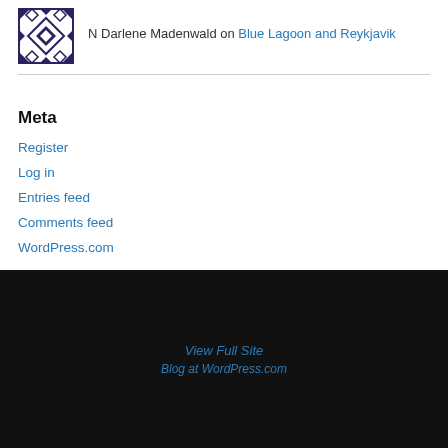N Darlene Madenwald on Blue Lagoon and Reykjavik
Meta
Register
Log in
Entries feed
Comments feed
WordPress.com
[Figure (illustration): Greek key / meander tiled pattern in black and white forming the page footer background]
View Full Site
Blog at WordPress.com